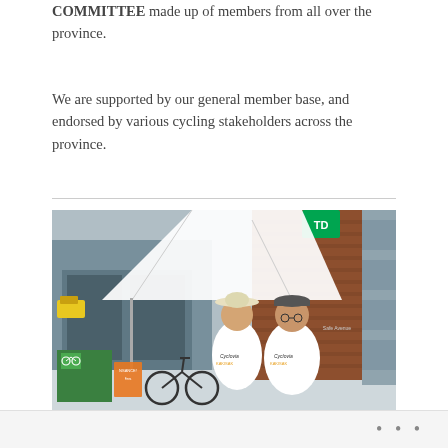COMMITTEE made up of members from all over the province.
We are supported by our general member base, and endorsed by various cycling stakeholders across the province.
[Figure (photo): Two people wearing Cyclovia t-shirts standing in front of a white event tent and a brick building (appears to be a TD Bank branch). A bicycle is visible in the foreground along with a green Cyclovia cycling sign/banner. The setting appears to be an outdoor street event.]
•••